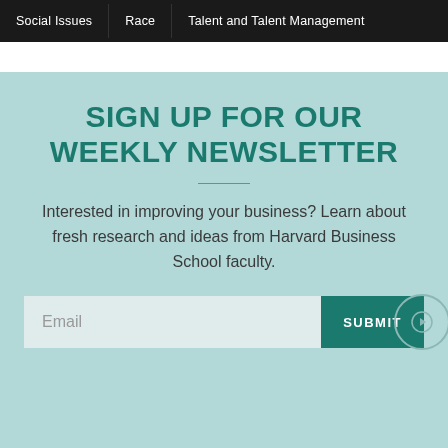Social Issues | Race | Talent and Talent Management
SIGN UP FOR OUR WEEKLY NEWSLETTER
Interested in improving your business? Learn about fresh research and ideas from Harvard Business School faculty.
Email  SUBMIT